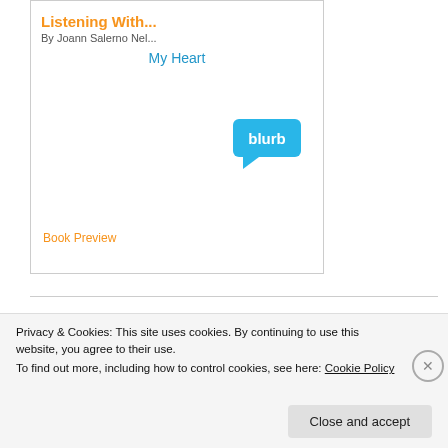[Figure (screenshot): Book preview card for 'Listening With...' by Joann Salerno Nel..., subtitle 'My Heart', with Blurb logo and 'Book Preview' link in orange]
[Figure (screenshot): Second book preview card showing 'The Praying' with blue border, broken image icon, Blurb-style layout]
Privacy & Cookies: This site uses cookies. By continuing to use this website, you agree to their use.
To find out more, including how to control cookies, see here: Cookie Policy
Close and accept